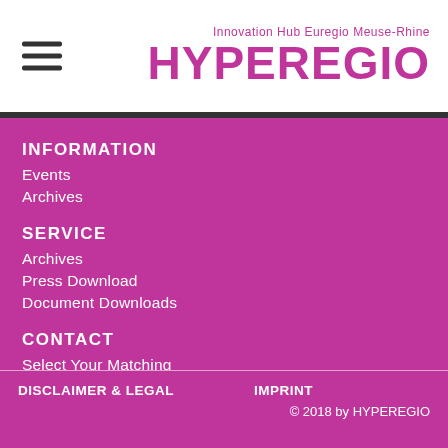Innovation Hub Euregio Meuse-Rhine HYPEREGIO
INFORMATION
Events
Archives
SERVICE
Archives
Press Download
Document Downloads
CONTACT
Select Your Matching
Contact Person.
DISCLAIMER & LEGAL    IMPRINT    © 2018 by HYPEREGIO